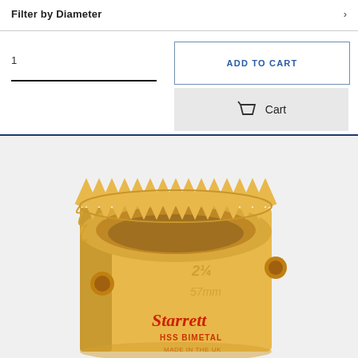Filter by Diameter
1
ADD TO CART
Cart
[Figure (photo): Yellow Starrett HSS Bimetal hole saw, 2-1/4 inch / 57mm diameter, cylindrical shape with serrated teeth at the top, shown at an angle on a white/light background. The brand name 'Starrett' is printed in red on the body, along with 'HSS BIMETAL' text.]